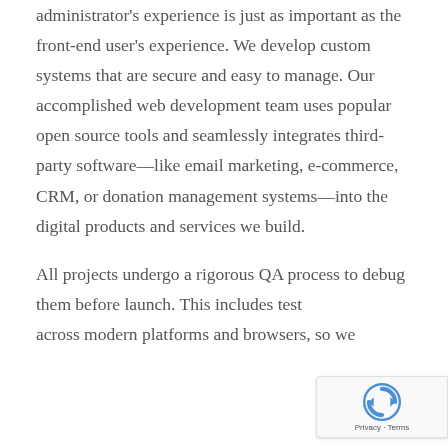administrator's experience is just as important as the front-end user's experience. We develop custom systems that are secure and easy to manage. Our accomplished web development team uses popular open source tools and seamlessly integrates third-party software—like email marketing, e-commerce, CRM, or donation management systems—into the digital products and services we build.
All projects undergo a rigorous QA process to debug them before launch. This includes testing across modern platforms and browsers, so we...
[Figure (logo): reCAPTCHA badge with Google reCAPTCHA logo and 'Privacy - Terms' text]